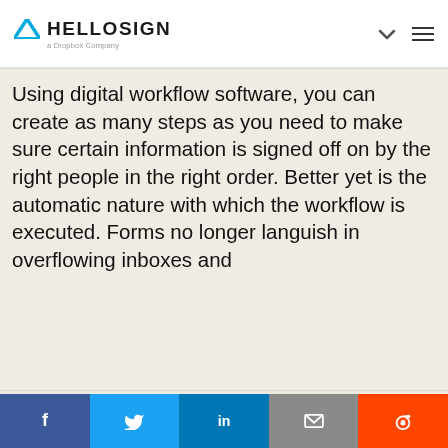HELLOSIGN a Dropbox Company
Using digital workflow software, you can create as many steps as you need to make sure certain information is signed off on by the right people in the right order. Better yet is the automatic nature with which the workflow is executed. Forms no longer languish in overflowing inboxes and
Dropbox  Cookie  Cookie
[Figure (screenshot): Black video embed block]
[Figure (screenshot): White content box with border]
f  Twitter  in  email  Reddit social share buttons